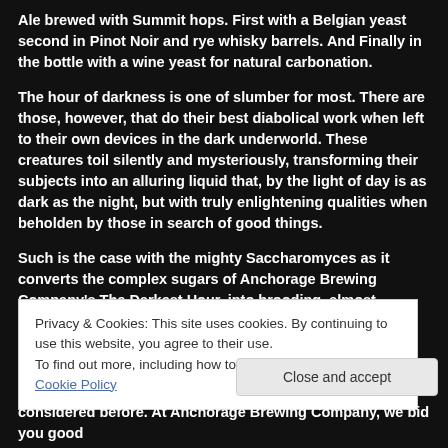Ale brewed with Summit hops. First with a Belgian yeast second in Pinot Noir and rye whisky barrels. And Finally in the bottle with a wine yeast for natural carbonation.
The hour of darkness is one of slumber for most. There are those, however, that do their best diabolical work when left to their own devices in the dark underworld. These creatures toil silently and mysteriously, transforming their subjects into an alluring liquid that, by the light of day is as dark as the night, but with truly enlightening qualities when beholden by those in search of good things.
Such is the case with the mighty Saccharomyces as it converts the complex sugars of Anchorage Brewing Company's The Darkest Hour, into brooding, almost dangerous Belgian Style Imperial Stout, borne of complex malts, subtle, but distinctive hops and a stern command from the master's hand that all things that come to life must be good. From the
Privacy & Cookies: This site uses cookies. By continuing to use this website, you agree to their use.
To find out more, including how to control cookies, see here: Cookie Policy
Close and accept
considered before. At Anchorage Brewing Company, we bid you good